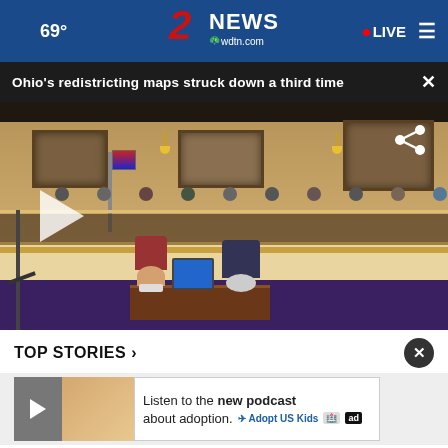🌙 69° | 2 NEWS wdtn.com | ● LIVE ☰
Ohio's redistricting maps struck down a third time
[Figure (photo): Government meeting room with officials seated at a curved table, two people in foreground at a separate table with a laptop, participants wearing masks, framed pictures on wall behind.]
TOP STORIES ›
[Figure (screenshot): News website bottom section showing TOP STORIES with a video thumbnail and an advertisement for listening to a new podcast about adoption from Adopt US Kids.]
Listen to the new podcast about adoption.